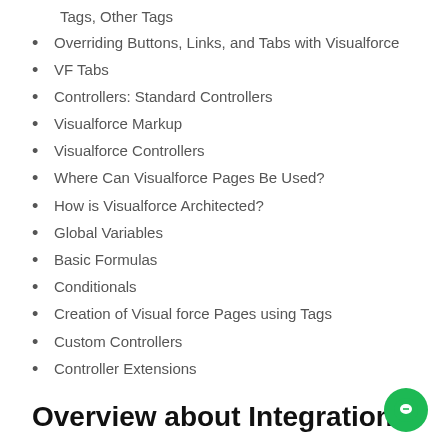Tags, Other Tags
Overriding Buttons, Links, and Tabs with Visualforce
VF Tabs
Controllers: Standard Controllers
Visualforce Markup
Visualforce Controllers
Where Can Visualforce Pages Be Used?
How is Visualforce Architected?
Global Variables
Basic Formulas
Conditionals
Creation of Visual force Pages using Tags
Custom Controllers
Controller Extensions
Overview about Integration
Different types of Integration's